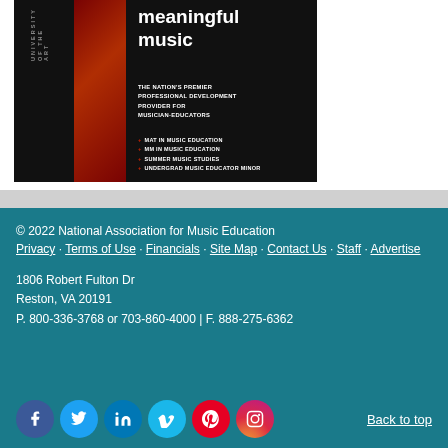[Figure (advertisement): University of the Arts advertisement: meaningful music, The Nation's Premier Professional Development Provider for Musician-Educators. Lists: MAT in Music Education, MM in Music Education, Summer Music Studies, Undergrad Music Educator Minor]
© 2022 National Association for Music Education
Privacy · Terms of Use · Financials · Site Map · Contact Us · Staff · Advertise
1806 Robert Fulton Dr
Reston, VA 20191
P. 800-336-3768 or 703-860-4000 | F. 888-275-6362
Back to top